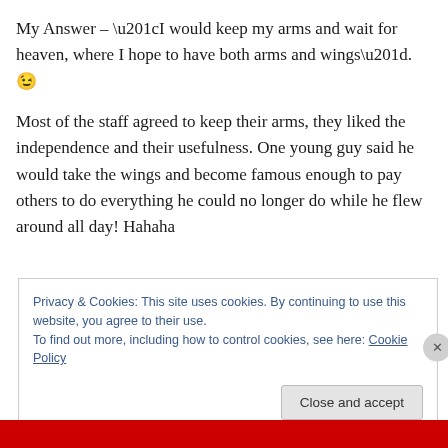My Answer – “I would keep my arms and wait for heaven, where I hope to have both arms and wings”. 😉
Most of the staff agreed to keep their arms, they liked the independence and their usefulness. One young guy said he would take the wings and become famous enough to pay others to do everything he could no longer do while he flew around all day! Hahaha
Privacy & Cookies: This site uses cookies. By continuing to use this website, you agree to their use.
To find out more, including how to control cookies, see here: Cookie Policy